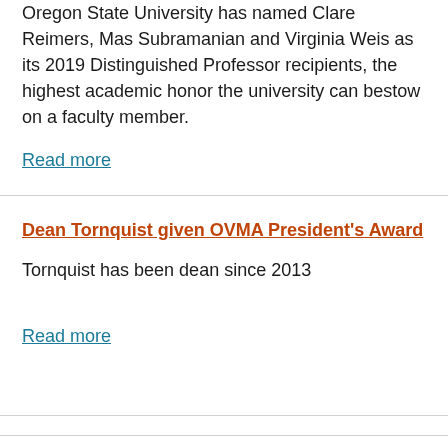Oregon State University has named Clare Reimers, Mas Subramanian and Virginia Weis as its 2019 Distinguished Professor recipients, the highest academic honor the university can bestow on a faculty member.
Read more
Dean Tornquist given OVMA President's Award
Tornquist has been dean since 2013
Read more